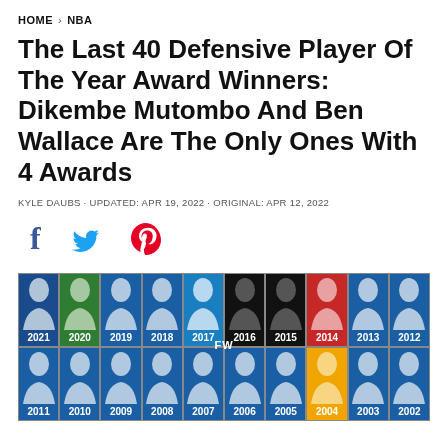HOME > NBA
The Last 40 Defensive Player Of The Year Award Winners: Dikembe Mutombo And Ben Wallace Are The Only Ones With 4 Awards
KYLE DAUBS · UPDATED: APR 19, 2022 · ORIGINAL: APR 12, 2022
[Figure (infographic): Social sharing icons: Facebook (f), Twitter (bird), Pinterest (P)]
[Figure (infographic): Grid of NBA Defensive Player of the Year award winners from 2012-2021 (top row) and 2002-2011 (bottom row partial), showing player headshots with year labels on colored backgrounds.]